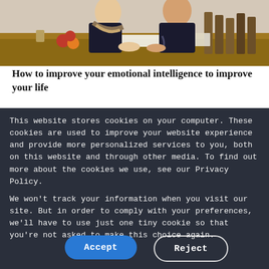[Figure (photo): Two people sitting at a wooden table with fruit, papers, and wooden objects. A woman in a dark sleeveless top with a scarf and a man in a black shirt with tattoos are visible.]
How to improve your emotional intelligence to improve your life
This website stores cookies on your computer. These cookies are used to improve your website experience and provide more personalized services to you, both on this website and through other media. To find out more about the cookies we use, see our Privacy Policy.
We won't track your information when you visit our site. But in order to comply with your preferences, we'll have to use just one tiny cookie so that you're not asked to make this choice again.